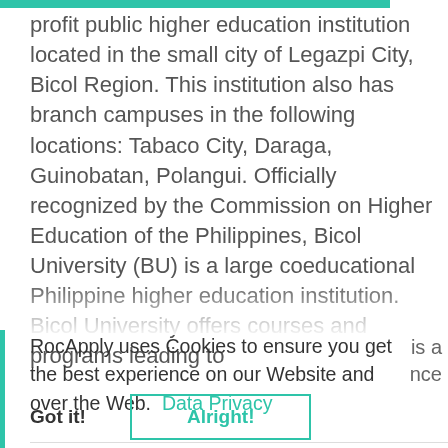profit public higher education institution located in the small city of Legazpi City, Bicol Region. This institution also has branch campuses in the following locations: Tabaco City, Daraga, Guinobatan, Polangui. Officially recognized by the Commission on Higher Education of the Philippines, Bicol University (BU) is a large coeducational Philippine higher education institution. Bicol University offers courses and programs leading to
RocApply uses Cookies to ensure you get the best experience on our Website and over the Web. Data Privacy
is a
nce
Got it!    Alright!
well as administrative services